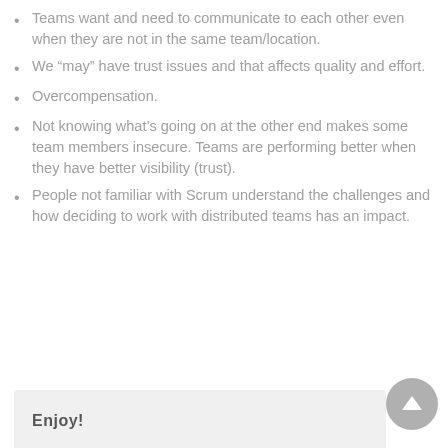Teams want and need to communicate to each other even when they are not in the same team/location.
We “may” have trust issues and that affects quality and effort.
Overcompensation.
Not knowing what’s going on at the other end makes some team members insecure. Teams are performing better when they have better visibility (trust).
People not familiar with Scrum understand the challenges and how deciding to work with distributed teams has an impact.
Enjoy!